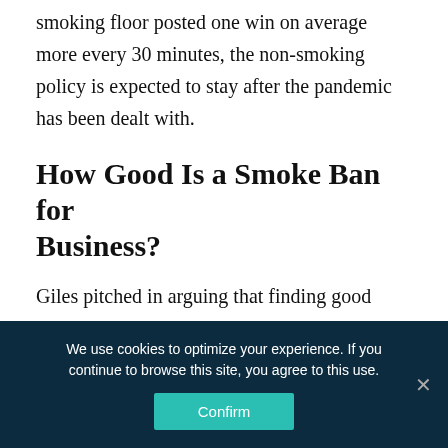smoking floor posted one win on average more every 30 minutes, the non-smoking policy is expected to stay after the pandemic has been dealt with.
How Good Is a Smoke Ban for Business?
Giles pitched in arguing that finding good employees who were willing to work in a smoking environment
We use cookies to optimize your experience. If you continue to browse this site, you agree to this use.